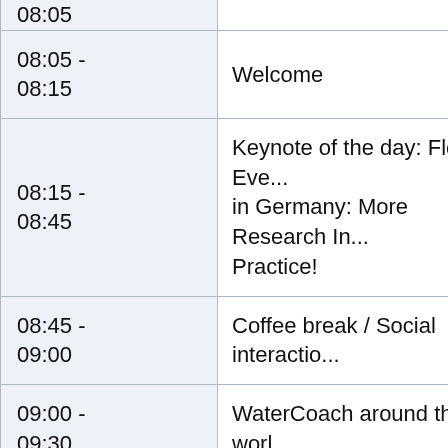| Time | Event |
| --- | --- |
| 08:05 - 08:15 | Welcome |
| 08:15 - 08:45 | Keynote of the day: Flood Eve... in Germany: More Research In... Practice! |
| 08:45 - 09:00 | Coffee break / Social interactio... |
| 09:00 - 09:30 | WaterCoach around the worl... |
| 09:30 - 09:50 | Drinking water supply for the... Paz: a forecasting, optimizatio... early warning system |
| ... | Coupling different hydrolog... |